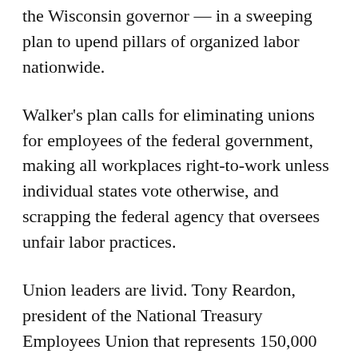the Wisconsin governor — in a sweeping plan to upend pillars of organized labor nationwide.
Walker's plan calls for eliminating unions for employees of the federal government, making all workplaces right-to-work unless individual states vote otherwise, and scrapping the federal agency that oversees unfair labor practices.
Union leaders are livid. Tony Reardon, president of the National Treasury Employees Union that represents 150,000 federal workers, said Walker is